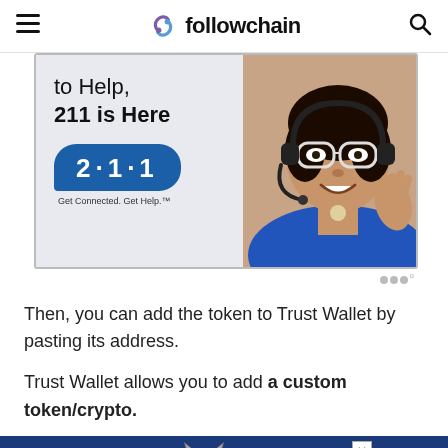followchain
[Figure (photo): Advertisement showing text 'to Help, 211 is Here' with a 2·1·1 chat bubble logo and a woman wearing a headset smiling. Tagline: Get Connected. Get Help.]
Then, you can add the token to Trust Wallet by pasting its address.
Trust Wallet allows you to add a custom token/crypto.
[Figure (photo): Advertisement banner with dark blue background showing text 'PAWFECT MATCH' with a cat illustration in the center.]